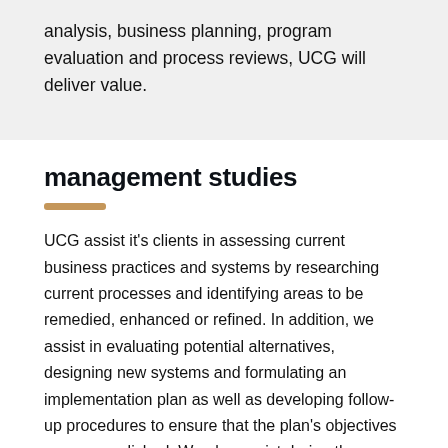analysis, business planning, program evaluation and process reviews, UCG will deliver value.
management studies
UCG assist it's clients in assessing current business practices and systems by researching current processes and identifying areas to be remedied, enhanced or refined. In addition, we assist in evaluating potential alternatives, designing new systems and formulating an implementation plan as well as developing follow-up procedures to ensure that the plan's objectives are accomplished. We also assist during the implementation phase of the plan.